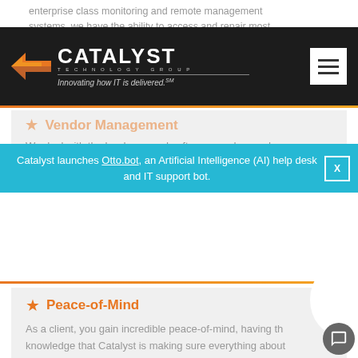enterprise class monitoring and remote management systems, we have the ability to access and repair most
[Figure (logo): Catalyst Technology Group logo with orange arrow graphic, white text 'CATALYST TECHNOLOGY GROUP', tagline 'Innovating how IT is delivered.' on dark background. Hamburger menu icon on right.]
Catalyst launches Otto.bot, an Artificial Intelligence (AI) help desk and IT support bot.
Vendor Management
We deal with the hardware and software vendors and "speak geek" on your behalf.
Peace-of-Mind
As a client, you gain incredible peace-of-mind, having the knowledge that Catalyst is making sure everything about your network security and reliability is handled properly, to